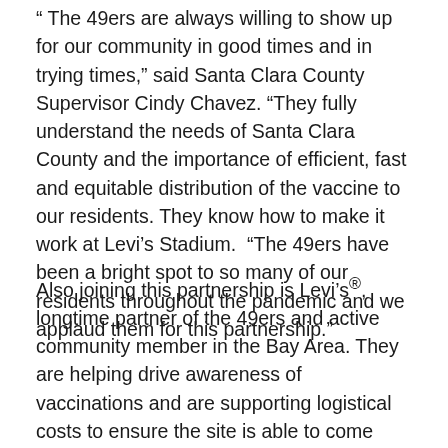“ The 49ers are always willing to show up for our community in good times and in trying times,” said Santa Clara County Supervisor Cindy Chavez. “They fully understand the needs of Santa Clara County and the importance of efficient, fast and equitable distribution of the vaccine to our residents. They know how to make it work at Levi’s Stadium.  “The 49ers have been a bright spot to so many of our residents throughout the pandemic and we applaud them for this partnership.”
Also joining this partnership is Levi’s®, longtime partner of the 49ers and active community member in the Bay Area. They are helping drive awareness of vaccinations and are supporting logistical costs to ensure the site is able to come online as quickly as possible.